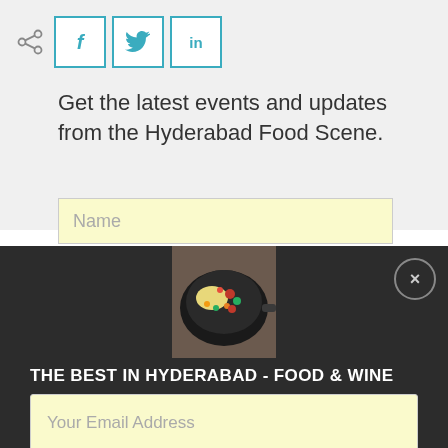[Figure (screenshot): Social share icons: share symbol and three social media buttons for Facebook (f), Twitter (bird), and LinkedIn (in), with teal/cyan borders]
Get the latest events and updates from the Hyderabad Food Scene.
Name
[Figure (photo): Overhead photo of a dark frying pan with cooked food including vegetables and what appears to be mashed potato or egg dish]
THE BEST IN HYDERABAD - FOOD & WINE
Your Email Address
Join